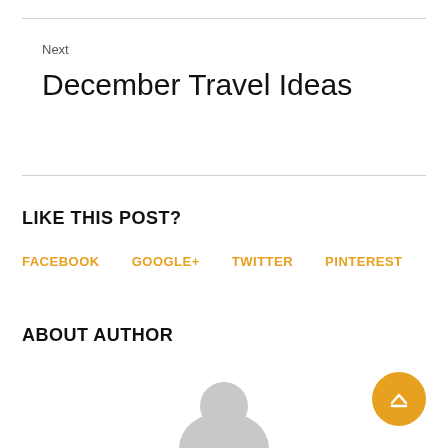Next
December Travel Ideas
LIKE THIS POST?
FACEBOOK
GOOGLE+
TWITTER
PINTEREST
ABOUT AUTHOR
[Figure (illustration): Author avatar placeholder circle in grey]